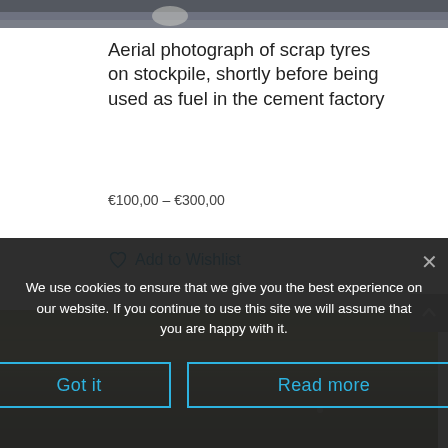[Figure (photo): Top portion of aerial photograph of scrap tyres on stockpile, cropped at top of page]
Aerial photograph of scrap tyres on stockpile, shortly before being used as fuel in the cement factory
€100,00 – €300,00
Add to Wishlist
[Figure (photo): Lower photograph, partially visible, showing a landscape with muted olive/khaki tones]
We use cookies to ensure that we give you the best experience on our website. If you continue to use this site we will assume that you are happy with it.
Got it
Read more